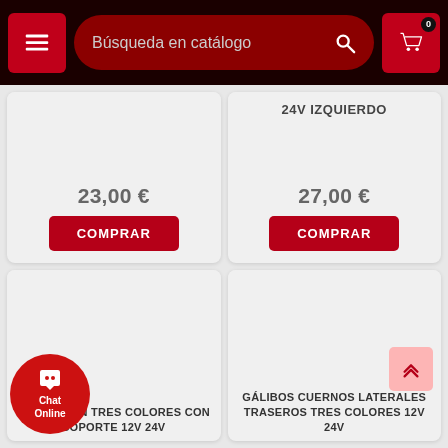Búsqueda en catálogo
23,00 €
COMPRAR
24V IZQUIERDO
27,00 €
COMPRAR
S LED NEÓN TRES COLORES CON SOPORTE 12V 24V
GÁLIBOS CUERNOS LATERALES TRASEROS TRES COLORES 12V 24V
Chat Online